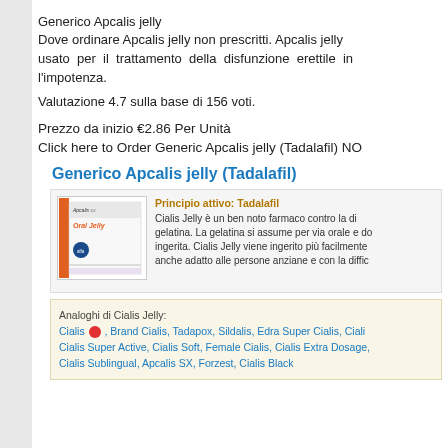Generico Apcalis jelly
Dove ordinare Apcalis jelly non prescritti. Apcalis jelly usato per il trattamento della disfunzione erettile in l'impotenza.
Valutazione 4.7 sulla base di 156 voti.
Prezzo da inizio €2.86 Per Unità
Click here to Order Generic Apcalis jelly (Tadalafil) NO...
Generico Apcalis jelly (Tadalafil)
[Figure (photo): Product image of Apcalis SX Oral Jelly packaging]
Principio attivo: Tadalafil
Cialis Jelly è un ben noto farmaco contro la di... gelatina. La gelatina si assume per via orale e do... ingerita. Cialis Jelly viene ingerito più facilmente... anche adatto alle persone anziane e con la diffic...
Analoghi di Cialis Jelly: Cialis, Brand Cialis, Tadapox, Sildalis, Edra Super Cialis, Ciali... Cialis Super Active, Cialis Soft, Female Cialis, Cialis Extra Dosage, Cialis Sublingual, Apcalis SX, Forzest, Cialis Black